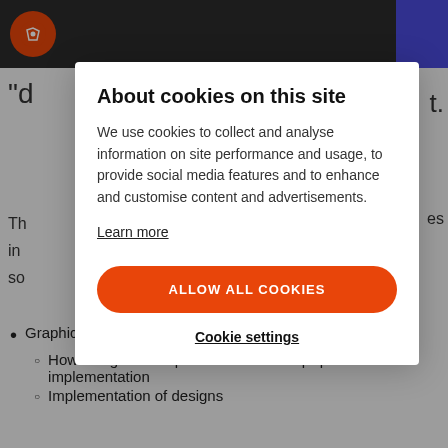[Figure (screenshot): Website navigation bar with orange logo circle and dark background, with purple button on right]
About cookies on this site
We use cookies to collect and analyse information on site performance and usage, to provide social media features and to enhance and customise content and advertisements.
Learn more
ALLOW ALL COOKIES
Cookie settings
Graphic Design – Build It
How design mockups should be "cut up" prior to implementation
Implementation of designs